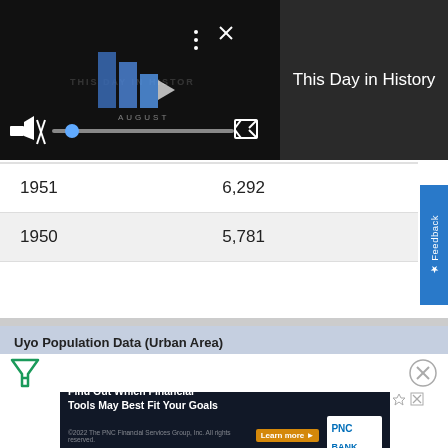[Figure (screenshot): Video player showing 'This Day in History' with NFL-style branding, play button, mute icon, progress bar, and fullscreen icon on dark background]
This Day in History
| 1951 | 6,292 |
| 1950 | 5,781 |
Uyo Population Data (Urban Area)
[Figure (screenshot): Filter icon (funnel) on left, close X button on right]
[Figure (screenshot): PNC Bank advertisement: 'Find Out Which Financial Tools May Best Fit Your Goals' with Learn more button and PNC Bank logo]